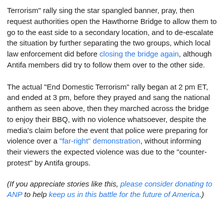Terrorism" rally sing the star spangled banner, pray, then request authorities open the Hawthorne Bridge to allow them to go to the east side to a secondary location, and to de-escalate the situation by further separating the two groups, which local law enforcement did before closing the bridge again, although Antifa members did try to follow them over to the other side.
The actual "End Domestic Terrorism" rally began at 2 pm ET, and ended at 3 pm, before they prayed and sang the national anthem as seen above, then they marched across the bridge to enjoy their BBQ, with no violence whatsoever, despite the media's claim before the event that police were preparing for violence over a "far-right" demonstration, without informing their viewers the expected violence was due to the "counter-protest" by Antifa groups.
(If you appreciate stories like this, please consider donating to ANP to help keep us in this battle for the future of America.)